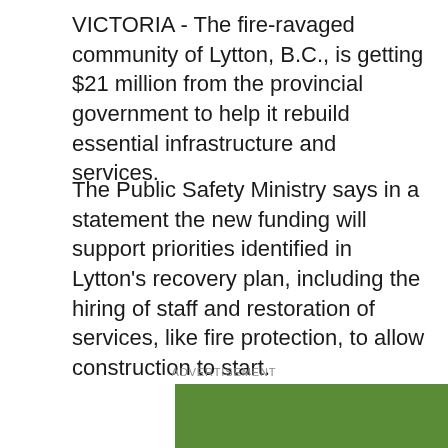VICTORIA - The fire-ravaged community of Lytton, B.C., is getting $21 million from the provincial government to help it rebuild essential infrastructure and services.
The Public Safety Ministry says in a statement the new funding will support priorities identified in Lytton's recovery plan, including the hiring of staff and restoration of services, like fire protection, to allow construction to start.
ADVERTISEMENT
[Figure (photo): Advertisement banner with black background. Left side shows a photo of a woman with curly hair lying on green grass, wearing a red outfit, smiling. Right side has bold white text reading 'SWEET PHONE PLANS AND MEMBER BENEFITS. IT'S A THING.' with smaller text 'DATA PLANS FOR' below.]